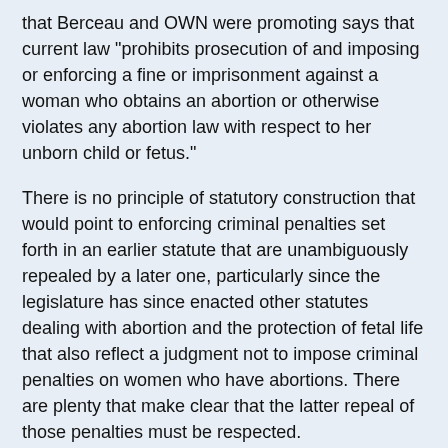that Berceau and OWN were promoting says that current law "prohibits prosecution of and imposing or enforcing a fine or imprisonment against a woman who obtains an abortion or otherwise violates any abortion law with respect to her unborn child or fetus."
There is no principle of statutory construction that would point to enforcing criminal penalties set forth in an earlier statute that are unambiguously repealed by a later one, particularly since the legislature has since enacted other statutes dealing with abortion and the protection of fetal life that also reflect a judgment not to impose criminal penalties on women who have abortions. There are plenty that make clear that the latter repeal of those penalties must be respected.
If Roe is ever repealed and Cory Liebman wants to bet on which statute a court would apply, I will take 940.13 and whatever number he proposes as long as he shows me that he can pay.
I am not, of course, calling the people at Planned